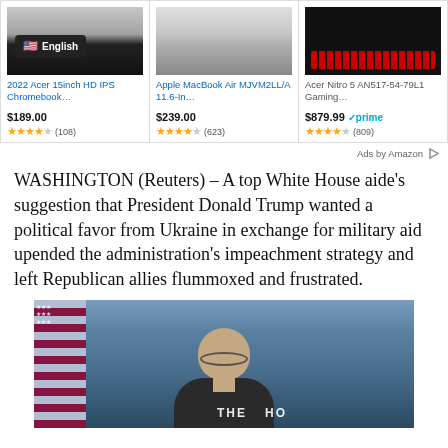[Figure (screenshot): Amazon ad banner showing three laptops: 2022 Acer 15inch HD IPS Chromebook ($189.00, 4.5 stars, 108 reviews), Apple MacBook Air MJVM2LL/A 11.6-In... ($239.00, 4.5 stars, 623 reviews), Acer Nitro 5 AN517-54-79L1 Gaming... ($879.99 with Prime, 4.5 stars, 809 reviews)]
Ads by Amazon
WASHINGTON (Reuters) – A top White House aide's suggestion that President Donald Trump wanted a political favor from Ukraine in exchange for military aid upended the administration's impeachment strategy and left Republican allies flummoxed and frustrated.
[Figure (photo): Photo of a man speaking at a White House press briefing podium. American flag visible on the left, 'THE' and 'HO' text visible on podium signage.]